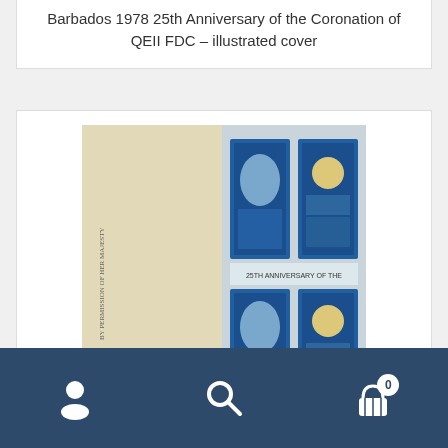Barbados 1978 25th Anniversary of the Coronation of QEII FDC – illustrated cover
[Figure (photo): Photo of a Barbados 1978 first day cover envelope with stamps showing the 25th Anniversary of the Coronation of Queen Elizabeth II, including a souvenir sheet with four blue stamps featuring royal imagery]
Barbados 1978 | 25th Anniversary of the Coronation of Queen Elizabeth II Souvenir Sheet FDC
[Figure (photo): Partially visible photo of another first day cover with a green header label reading FIRST DAY COVER]